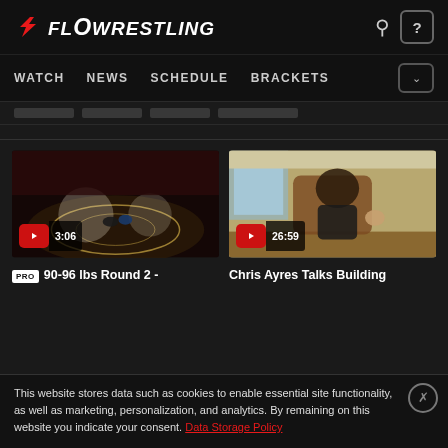FLOWRESTLING
WATCH  NEWS  SCHEDULE  BRACKETS
[Figure (screenshot): Video thumbnail of wrestling match on a gymnasium mat, duration 3:06]
PRO 90-96 lbs Round 2 -
[Figure (screenshot): Video thumbnail of interview with a man seated in a chair in a modern room, duration 26:59]
Chris Ayres Talks Building
This website stores data such as cookies to enable essential site functionality, as well as marketing, personalization, and analytics. By remaining on this website you indicate your consent. Data Storage Policy